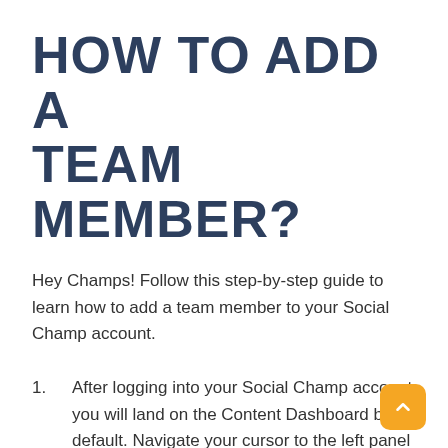HOW TO ADD A TEAM MEMBER?
Hey Champs! Follow this step-by-step guide to learn how to add a team member to your Social Champ account.
After logging into your Social Champ account you will land on the Content Dashboard by default. Navigate your cursor to the left panel to find and click the Team option.